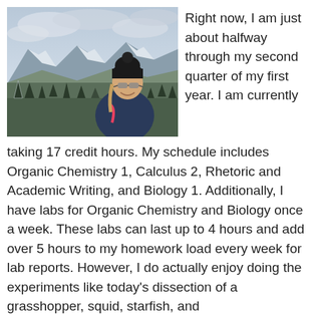[Figure (photo): A young woman wearing a black beanie hat and reflective sunglasses, smiling, dressed in a dark blue jacket with pink accents. She is standing outdoors in a snowy mountainous landscape with snow-covered evergreen trees and a cloudy sky in the background.]
Right now, I am just about halfway through my second quarter of my first year. I am currently taking 17 credit hours. My schedule includes Organic Chemistry 1, Calculus 2, Rhetoric and Academic Writing, and Biology 1. Additionally, I have labs for Organic Chemistry and Biology once a week. These labs can last up to 4 hours and add over 5 hours to my homework load every week for lab reports. However, I do actually enjoy doing the experiments like today's dissection of a grasshopper, squid, starfish, and